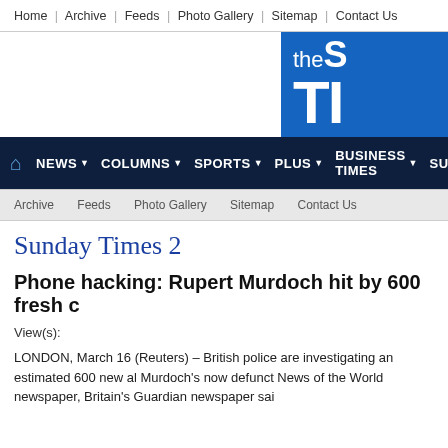Home | Archive | Feeds | Photo Gallery | Sitemap | Contact Us
[Figure (logo): The Sunday Times logo - blue box with white text 'the S' and 'TI' visible]
HOME NEWS ▼ COLUMNS ▼ SPORTS ▼ PLUS ▼ BUSINESS TIMES ▼ SU
Archive   Feeds   Photo Gallery   Sitemap   Contact Us
Sunday Times 2
Phone hacking: Rupert Murdoch hit by 600 fresh c
View(s):
LONDON, March 16 (Reuters) – British police are investigating an estimated 600 new al Murdoch's now defunct News of the World newspaper, Britain's Guardian newspaper sai